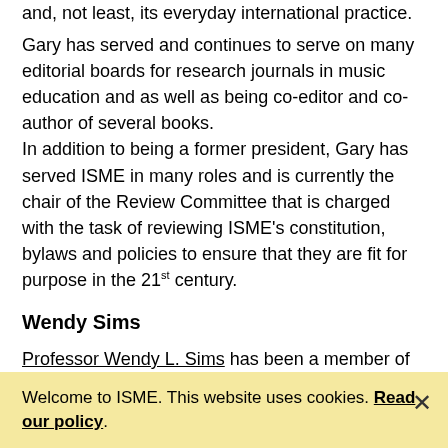and, not least, its everyday international practice. Gary has served and continues to serve on many editorial boards for research journals in music education and as well as being co-editor and co-author of several books. In addition to being a former president, Gary has served ISME in many roles and is currently the chair of the Review Committee that is charged with the task of reviewing ISME's constitution, bylaws and policies to ensure that they are fit for purpose in the 21st century.
Wendy Sims
Professor Wendy L. Sims has been a member of the University of Missouri faculty since 1985. She is a specialist in early childhood and elementary music education, and teaches a variety of undergraduate and graduate music education courses, advises bachelor and master's degree students, and supervises doctoral student programs and research. She is the
Welcome to ISME. This website uses cookies. Read our policy.